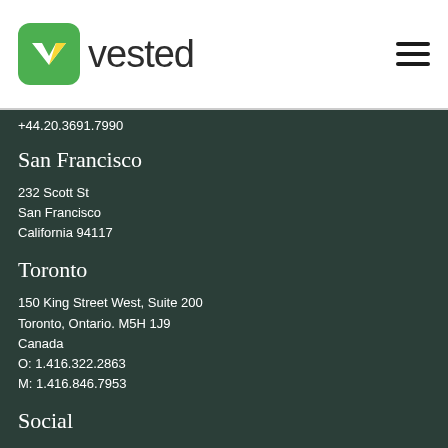vested
+44.20.3691.7990
San Francisco
232 Scott St
San Francisco
California 94117
Toronto
150 King Street West, Suite 200
Toronto, Ontario. M5H 1J9
Canada
O: 1.416.322.2863
M: 1.416.846.7953
Social
Twitter
LinkedIn
Instagram
Youtube